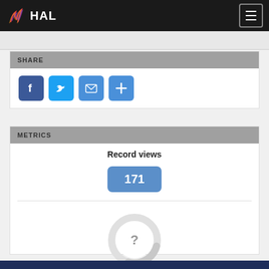HAL
SHARE
[Figure (other): Social share buttons: Facebook (blue), Twitter (light blue), Email (blue envelope), Plus/More (blue plus sign)]
METRICS
Record views
171
[Figure (donut-chart): Partially loaded donut/circle chart with a question mark in the center, indicating data loading or unavailable downloads metric]